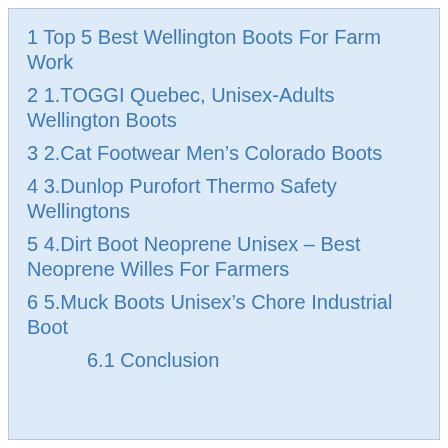1 Top 5 Best Wellington Boots For Farm Work
2 1.TOGGI Quebec, Unisex-Adults Wellington Boots
3 2.Cat Footwear Men's Colorado Boots
4 3.Dunlop Purofort Thermo Safety Wellingtons
5 4.Dirt Boot Neoprene Unisex – Best Neoprene Willes For Farmers
6 5.Muck Boots Unisex's Chore Industrial Boot
6.1 Conclusion